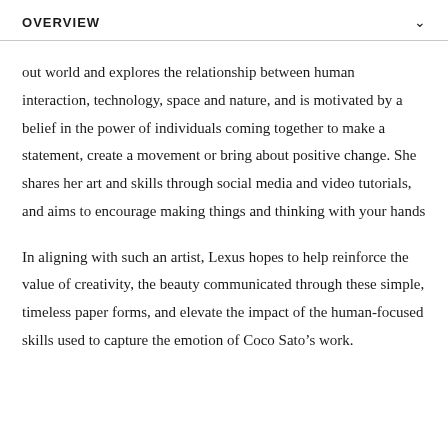OVERVIEW
out world and explores the relationship between human interaction, technology, space and nature, and is motivated by a belief in the power of individuals coming together to make a statement, create a movement or bring about positive change. She shares her art and skills through social media and video tutorials, and aims to encourage making things and thinking with your hands
In aligning with such an artist, Lexus hopes to help reinforce the value of creativity, the beauty communicated through these simple, timeless paper forms, and elevate the impact of the human-focused skills used to capture the emotion of Coco Sato's work.